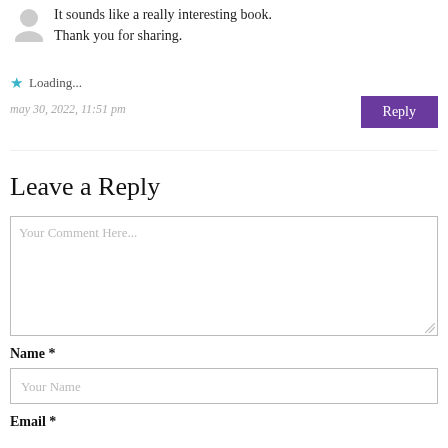[Figure (illustration): Gray placeholder avatar silhouette icon in the top-left corner]
It sounds like a really interesting book. Thank you for sharing.
Loading...
may 30, 2022, 11:51 pm
Reply
Leave a Reply
Your Comment Here...
Name *
Your Name
Email *